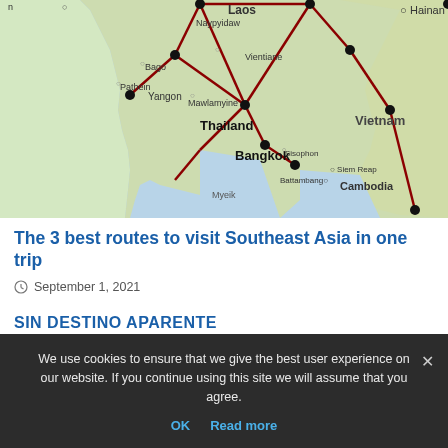[Figure (map): Map of Southeast Asia showing Thailand, Vietnam, Laos, Cambodia, Myanmar regions with red route lines connecting multiple black dot waypoints across the countries]
The 3 best routes to visit Southeast Asia in one trip
September 1, 2021
SIN DESTINO APARENTE
We use cookies to ensure that we give the best user experience on our website. If you continue using this site we will assume that you agree.
OK  Read more